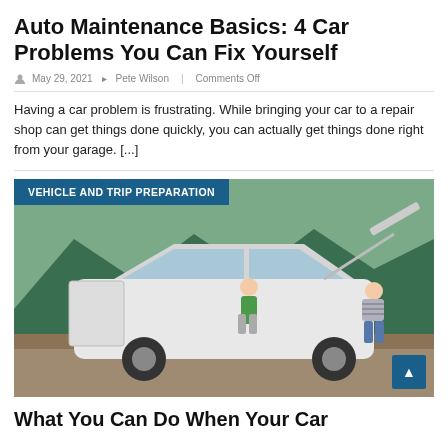Auto Maintenance Basics: 4 Car Problems You Can Fix Yourself
May 29, 2021  Pete Wilson  Comments Off
Having a car problem is frustrating. While bringing your car to a repair shop can get things done quickly, you can actually get things done right from your garage. [...]
[Figure (photo): Two people inspecting a white car with hood open and door open, parked outdoors near trees and mountains. Overlaid label: VEHICLE AND TRIP PREPARATION]
What You Can Do When Your Car